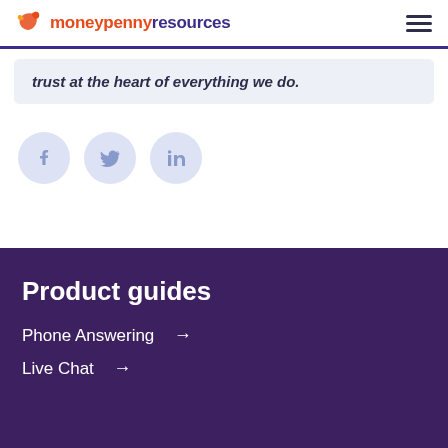moneypenny resources
trust at the heart of everything we do.
[Figure (other): Social media icons: Facebook, Twitter, LinkedIn circles in light blue/purple]
Product guides
Phone Answering →
Live Chat →